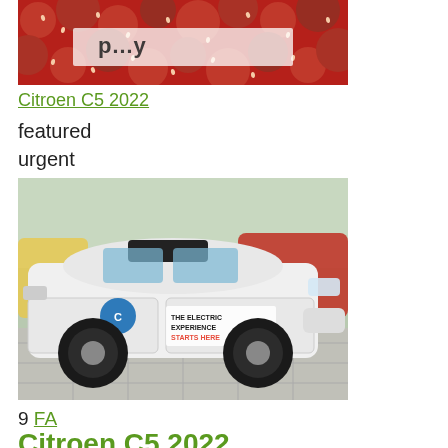[Figure (photo): Strawberry background image with text overlay (partially cut off at top)]
Citroen C5 2022
featured
urgent
[Figure (photo): White Citroen C5 2022 SUV in a dealership showroom with 'The Electric Experience Starts Here' branding on the door]
9 FA
Citroen C5 2022
Citroen C5 2022 (partially visible, cut off)